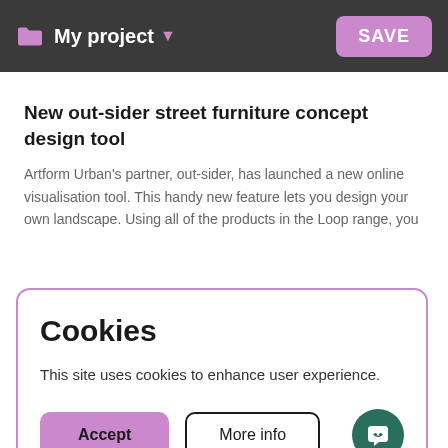My project  SAVE
New out-sider street furniture concept design tool
Artform Urban's partner, out-sider, has launched a new online visualisation tool. This handy new feature lets you design your own landscape. Using all of the products in the Loop range, you
Cookies
This site uses cookies to enhance user experience.
Accept  More info